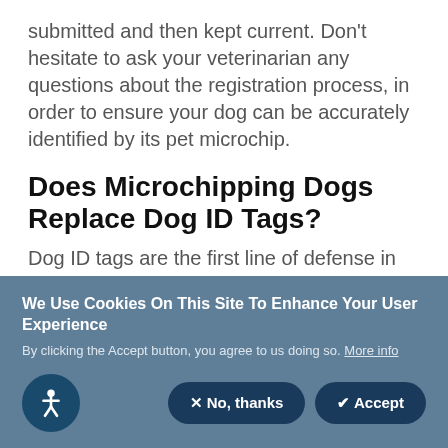submitted and then kept current. Don't hesitate to ask your veterinarian any questions about the registration process, in order to ensure your dog can be accurately identified by its pet microchip.
Does Microchipping Dogs Replace Dog ID Tags?
Dog ID tags are the first line of defense in locating and identifying a lost animal.
We Use Cookies On This Site To Enhance Your User Experience
By clicking the Accept button, you agree to us doing so. More info
[Figure (other): Cookie consent banner with accessibility icon, No thanks button, and Accept button on a steel blue background]